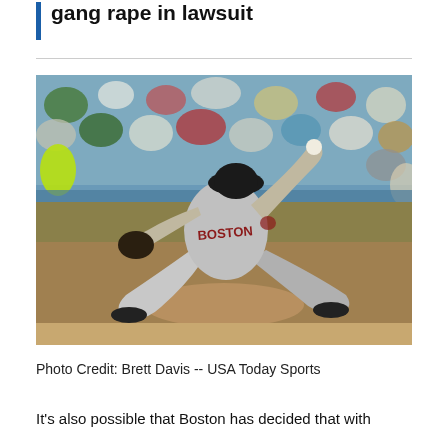gang rape in lawsuit
[Figure (photo): Baseball pitcher in Boston Red Sox gray away uniform mid-pitch delivery on the mound, with a packed stadium crowd in the background.]
Photo Credit: Brett Davis -- USA Today Sports
It's also possible that Boston has decided that with